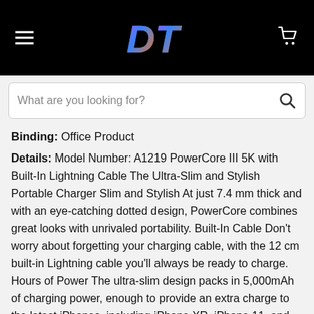DT [logo with hamburger menu and cart icon]
What are you looking for?
Binding: Office Product
Details: Model Number: A1219 PowerCore III 5K with Built-In Lightning Cable The Ultra-Slim and Stylish Portable Charger Slim and Stylish At just 7.4 mm thick and with an eye-catching dotted design, PowerCore combines great looks with unrivaled portability. Built-In Cable Don't worry about forgetting your charging cable, with the 12 cm built-in Lightning cable you'll always be ready to charge. Hours of Power The ultra-slim design packs in 5,000mAh of charging power, enough to provide an extra charge to the latest iPhones, including iPhone XR, iPhone 11, and iPhone 11 Pro. Lightning Recharging Connect your iPhone's original charger and cable to the 10W Lightning port to fully recharge PowerCore in 4 hours.